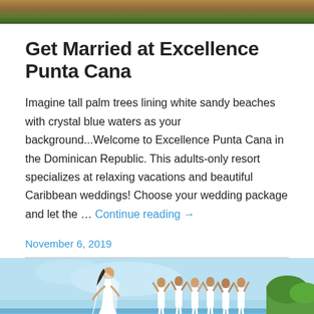[Figure (photo): Top partial image showing sandy pathway with stone tiles and green grass]
Get Married at Excellence Punta Cana
Imagine tall palm trees lining white sandy beaches with crystal blue waters as your background...Welcome to Excellence Punta Cana in the Dominican Republic. This adults-only resort specializes at relaxing vacations and beautiful Caribbean weddings! Choose your wedding package and let the … Continue reading →
November 6, 2019
[Figure (photo): Bride in white dress with veil running on beach, group of women in white behind her with arms raised]